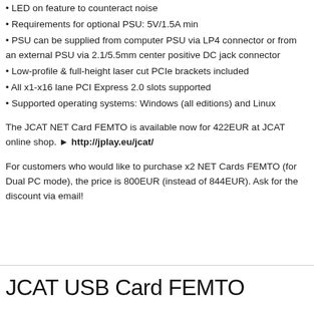• LED on feature to counteract noise
• Requirements for optional PSU: 5V/1.5A min
• PSU can be supplied from computer PSU via LP4 connector or from an external PSU via 2.1/5.5mm center positive DC jack connector
• Low-profile & full-height laser cut PCIe brackets included
• All x1-x16 lane PCI Express 2.0 slots supported
• Supported operating systems: Windows (all editions) and Linux
The JCAT NET Card FEMTO is available now for 422EUR at JCAT online shop. ► http://jplay.eu/jcat/
For customers who would like to purchase x2 NET Cards FEMTO (for Dual PC mode), the price is 800EUR (instead of 844EUR). Ask for the discount via email!
JCAT USB Card FEMTO